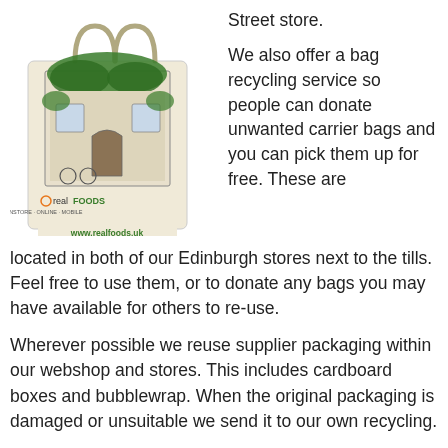[Figure (illustration): A Real Foods branded reusable shopping bag with an illustration of a store front covered in greenery. The bag shows 'real FOODS INSTORE · ONLINE · MOBILE' and 'www.realfoods.uk' text.]
Street store.
We also offer a bag recycling service so people can donate unwanted carrier bags and you can pick them up for free. These are located in both of our Edinburgh stores next to the tills. Feel free to use them, or to donate any bags you may have available for others to re-use.
Wherever possible we reuse supplier packaging within our webshop and stores. This includes cardboard boxes and bubblewrap. When the original packaging is damaged or unsuitable we send it to our own recycling.
Recycle